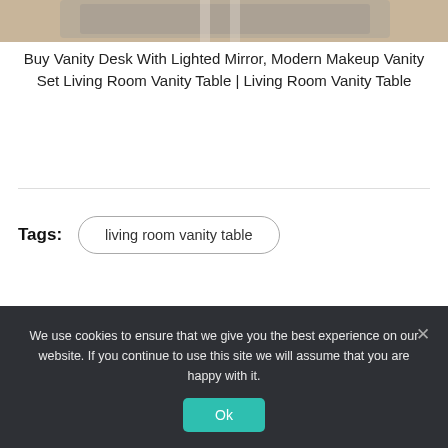[Figure (photo): Partial product photo of a vanity desk/rug on wooden floor, cropped at top]
Buy Vanity Desk With Lighted Mirror, Modern Makeup Vanity Set Living Room Vanity Table | Living Room Vanity Table
Tags: living room vanity table
[Figure (photo): Author profile card with grey placeholder avatar circle on light grey background]
We use cookies to ensure that we give you the best experience on our website. If you continue to use this site we will assume that you are happy with it.
Ok